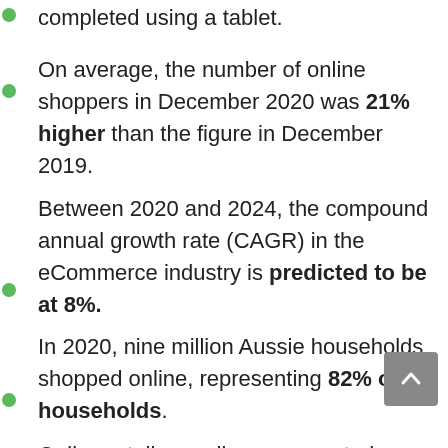completed using a tablet.
On average, the number of online shoppers in December 2020 was 21% higher than the figure in December 2019.
Between 2020 and 2024, the compound annual growth rate (CAGR) in the eCommerce industry is predicted to be at 8%.
In 2020, nine million Aussie households shopped online, representing 82% of all households.
Online retail spending represented a 16.3% out of the total volume of retail spend in